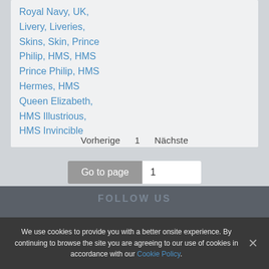Royal Navy, UK, Livery, Liveries, Skins, Skin, Prince Philip, HMS, HMS Prince Philip, HMS Hermes, HMS Queen Elizabeth, HMS Illustrious, HMS Invincible
Vorherige   1   Nächste
Go to page  1
FOLLOW US
We use cookies to provide you with a better onsite experience. By continuing to browse the site you are agreeing to our use of cookies in accordance with our Cookie Policy.